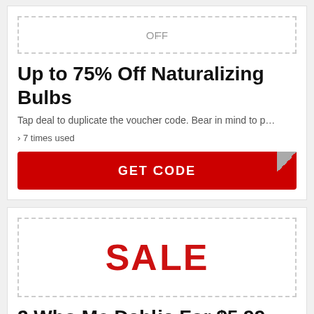[Figure (other): Dashed border box with 'OFF' text in gray at top of first coupon card]
Up to 75% Off Naturalizing Bulbs
Tap deal to duplicate the voucher code. Bear in mind to p…
› 7 times used
GET CODE
[Figure (other): Dashed border box with 'SALE' text in red at top of second coupon card]
2 Who Me Dahlia For $5.99
Tap offer to copy the coupon code. Bear in mind to paste …
› 44 times used